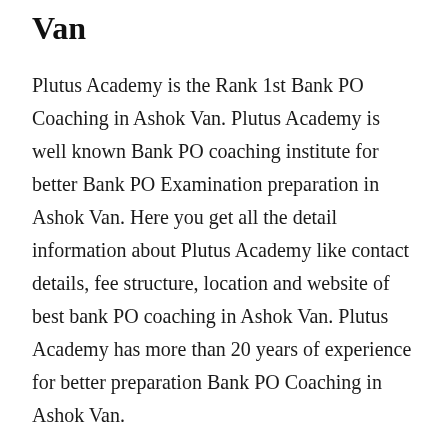Van
Plutus Academy is the Rank 1st Bank PO Coaching in Ashok Van. Plutus Academy is well known Bank PO coaching institute for better Bank PO Examination preparation in Ashok Van. Here you get all the detail information about Plutus Academy like contact details, fee structure, location and website of best bank PO coaching in Ashok Van. Plutus Academy has more than 20 years of experience for better preparation Bank PO Coaching in Ashok Van.
Contact Details and Address